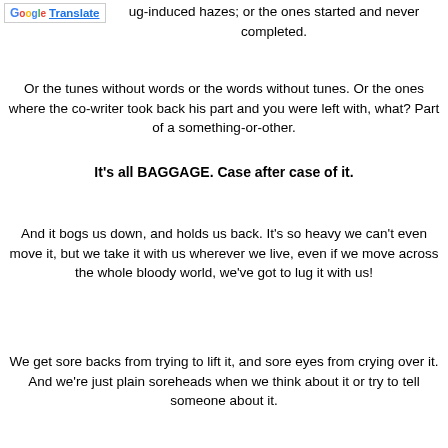[Figure (logo): Google Translate button with colorful G logo and underlined blue Translate text]
ug-induced hazes; or the ones started and never completed.
Or the tunes without words or the words without tunes. Or the ones where the co-writer took back his part and you were left with, what? Part of a something-or-other.
It's all BAGGAGE. Case after case of it.
And it bogs us down, and holds us back. It's so heavy we can't even move it, but we take it with us wherever we live, even if we move across the whole bloody world, we've got to lug it with us!
We get sore backs from trying to lift it, and sore eyes from crying over it. And we're just plain soreheads when we think about it or try to tell someone about it.